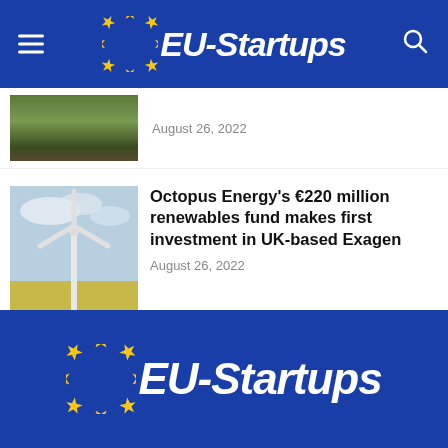EU-Startups
[Figure (photo): Partially visible thumbnail of crops/plants in soil]
August 26, 2022
[Figure (photo): Wind turbine in a field under cloudy sky]
Octopus Energy's €220 million renewables fund makes first investment in UK-based Exagen
August 26, 2022
Load more
EU-Startups